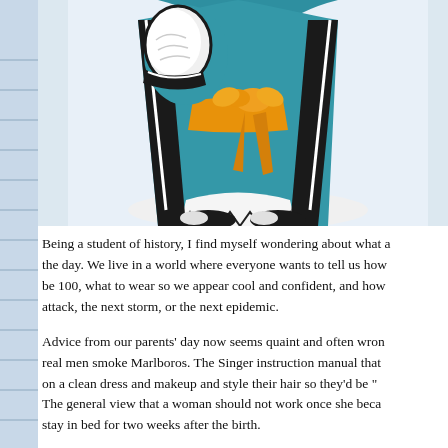[Figure (illustration): Cartoon illustration of a figure in traditional Chinese or East Asian clothing — a teal/blue robe with gold/orange sash belt, white underlayer, black-trimmed shoes, and white gloves. The figure is shown from roughly chest down, with hands folded. The background is light blue-gray.]
Being a student of history, I find myself wondering about what advice ruled the day. We live in a world where everyone wants to tell us how to eat to be 100, what to wear so we appear cool and confident, and how to survive the next attack, the next storm, or the next epidemic.
Advice from our parents' day now seems quaint and often wrong — real men smoke Marlboros. The Singer instruction manual that told women to put on a clean dress and makeup and style their hair so they'd be "... The general view that a woman should not work once she became ... stay in bed for two weeks after the birth.